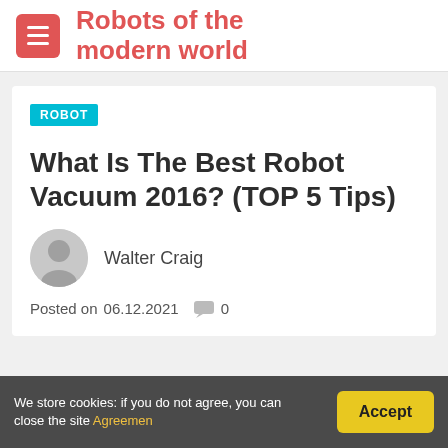Robots of the modern world
ROBOT
What Is The Best Robot Vacuum 2016? (TOP 5 Tips)
Walter Craig
Posted on 06.12.2021  0
We store cookies: if you do not agree, you can close the site Agreemen